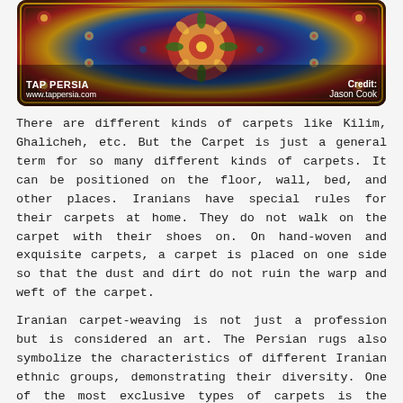[Figure (photo): A close-up photo of a colorful Persian carpet with intricate floral and geometric patterns in red, blue, gold, and dark tones. The image has a TAP PERSIA logo and URL on the lower left, and a credit to Jason Cook on the lower right.]
There are different kinds of carpets like Kilim, Ghalicheh, etc. But the Carpet is just a general term for so many different kinds of carpets. It can be positioned on the floor, wall, bed, and other places. Iranians have special rules for their carpets at home. They do not walk on the carpet with their shoes on. On hand-woven and exquisite carpets, a carpet is placed on one side so that the dust and dirt do not ruin the warp and weft of the carpet.
Iranian carpet-weaving is not just a profession but is considered an art. The Persian rugs also symbolize the characteristics of different Iranian ethnic groups, demonstrating their diversity. One of the most exclusive types of carpets is the handmade one. The handmade rugs of this type are often unique because they do not have written patterns. In carpet weaving, a weaver uses